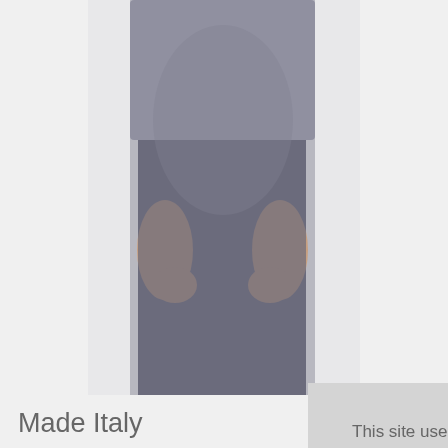[Figure (photo): A person wearing a gray t-shirt and dark gray leggings, shown from the torso/waist area with hands resting on hips. The background is white/light gray.]
Made Italy
Loading...
Product Detai
Reviews
This site uses cookies to provide and improve your shopping experience. If you want to benefit from this improved service, please opt-in. Cookies Page.
I opt-in to a better browsing experience
Accept Cookies